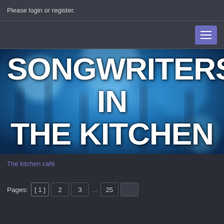Please login or register.
[Figure (screenshot): Navigation bar with hamburger menu button (purple/blue square with three horizontal lines) on the right side]
[Figure (photo): Blue blurred background image with bokeh effect, overlaid with large white bold text reading SONGWRITERS IN THE KITCHEN]
SONGWRITERS IN THE KITCHEN
The kitchen café
Pages: [ 1 ] 2 3 ... 25